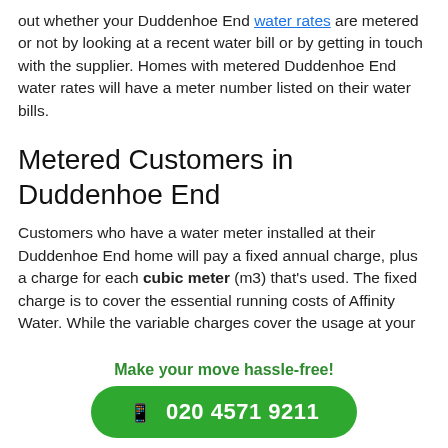out whether your Duddenhoe End water rates are metered or not by looking at a recent water bill or by getting in touch with the supplier. Homes with metered Duddenhoe End water rates will have a meter number listed on their water bills.
Metered Customers in Duddenhoe End
Customers who have a water meter installed at their Duddenhoe End home will pay a fixed annual charge, plus a charge for each cubic meter (m3) that's used. The fixed charge is to cover the essential running costs of Affinity Water. While the variable charges cover the usage at your
Make your move hassle-free!
020 4571 9211